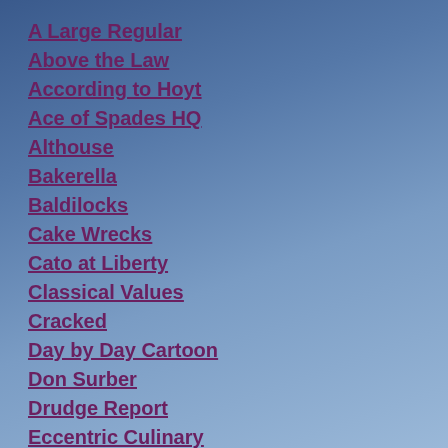A Large Regular
Above the Law
According to Hoyt
Ace of Spades HQ
Althouse
Bakerella
Baldilocks
Cake Wrecks
Cato at Liberty
Classical Values
Cracked
Day by Day Cartoon
Don Surber
Drudge Report
Eccentric Culinary